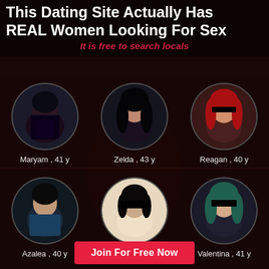This Dating Site Actually Has REAL Women Looking For Sex
It is free to search locals
[Figure (photo): Profile photo of Maryam, circular avatar]
Maryam , 41 y
[Figure (photo): Profile photo of Zelda, circular avatar]
Zelda , 43 y
[Figure (photo): Profile photo of Reagan, circular avatar]
Reagan , 40 y
[Figure (photo): Profile photo of Azalea, circular avatar]
Azalea , 40 y
[Figure (photo): Profile photo of Sasha, circular avatar with face censored]
Sasha , 25 y
[Figure (photo): Profile photo of Valentina, circular avatar with face censored]
Valentina , 41 y
Join For Free Now